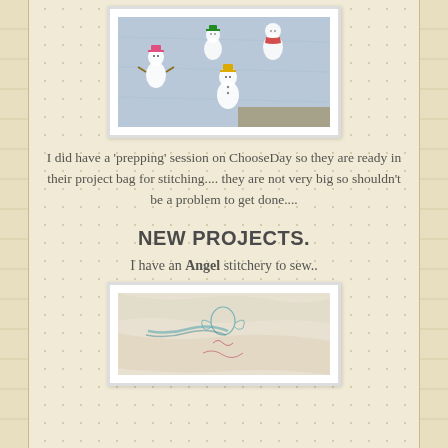[Figure (photo): Photo of snowman applique/embroidery pieces laid out on fabric, showing multiple colorful snowman figures with hats and scarves on a light blue-grey background]
I did have a 'prepping' session on ChooseDay so they are ready in their project bag for stitching.... they are not very big so shouldn't be a problem to get done....
NEW PROJECTS.
I have an Angel stitchery to sew..
[Figure (photo): Photo of white fabric with light blue/teal thread embroidery showing angel stitchery design, fabric folded or gathered]